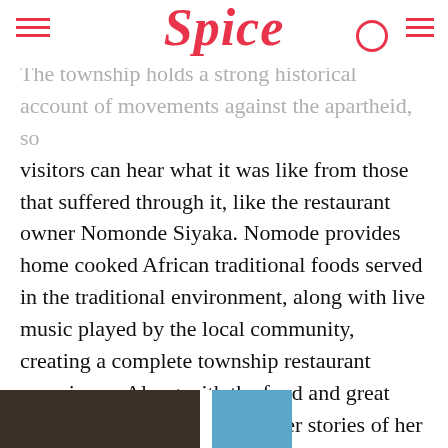Spice
The township holds a strong historical account of movements against the apartheid, so visitors can hear what it was like from those that suffered through it, like the restaurant owner Nomonde Siyaka. Nomode provides home cooked African traditional foods served in the traditional environment, along with live music played by the local community, creating a complete township restaurant experience. Along with the food and great atmosphere, Nomode shares her stories of her apartheid experience, and also how she and her husband, saved painstakingly over the years to change her mother’s house into the restaurant it is today.
[Figure (photo): Two photos partially visible at the bottom of the page - a dark food/restaurant photo on the left and a blue-tinted photo on the right]